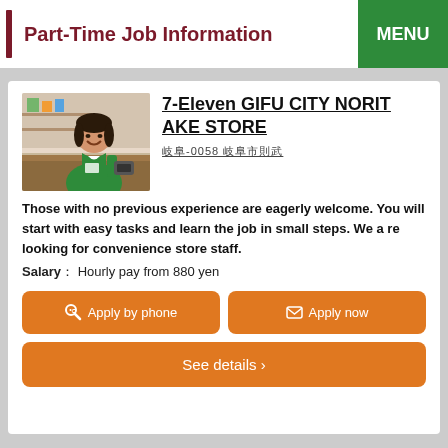Part-Time Job Information
7-Eleven GIFU CITY NORITAKE STORE
岐阜-0058 岐阜市則武
[Figure (photo): A woman in a green convenience store uniform smiling and holding a barcode scanner at a counter]
Those with no previous experience are eagerly welcome. You will start with easy tasks and learn the job in small steps. We are looking for convenience store staff.
Salary： Hourly pay from 880 yen
Apply by phone
Apply now
See details ›